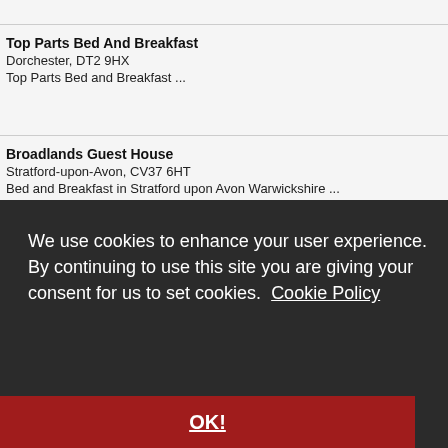Top Parts Bed And Breakfast
Dorchester, DT2 9HX
Top Parts Bed and Breakfast ...
Broadlands Guest House
Stratford-upon-Avon, CV37 6HT
Bed and Breakfast in Stratford upon Avon Warwickshire ...
We use cookies to enhance your user experience. By continuing to use this site you are giving your consent for us to set cookies. Cookie Policy
OK!
Chateau du Doux - Home Page ...